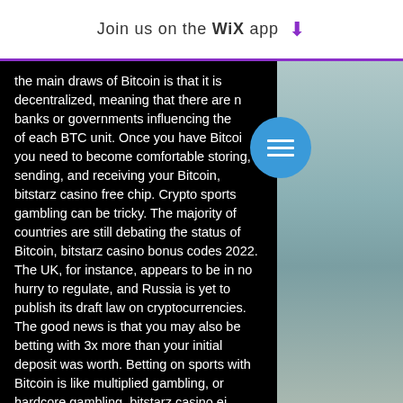Join us on the Wix app ↓
the main draws of Bitcoin is that it is decentralized, meaning that there are no banks or governments influencing the value of each BTC unit. Once you have Bitcoin, you need to become comfortable storing, sending, and receiving your Bitcoin, bitstarz casino free chip. Crypto sports gambling can be tricky. The majority of countries are still debating the status of Bitcoin, bitstarz casino bonus codes 2022. The UK, for instance, appears to be in no hurry to regulate, and Russia is yet to publish its draft law on cryptocurrencies. The good news is that you may also be betting with 3x more than your initial deposit was worth. Betting on sports with Bitcoin is like multiplied gambling, or hardcore gambling, bitstarz casino ei talletusbonusta. Improved Security and Flat Fees. Blockchain system utilizes an improved security protocol known as
[Figure (other): Blue circular hamburger menu button with three horizontal white bars]